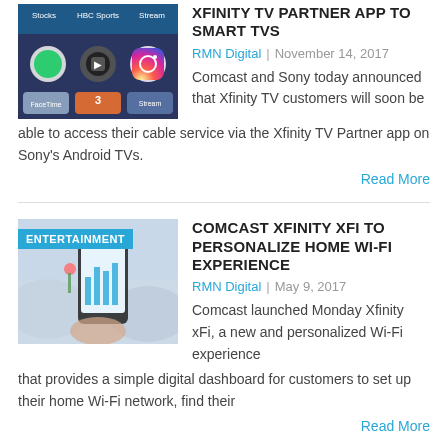[Figure (photo): Smartphone screen showing various app icons including Stocks, HBO Sports, Instagram, FaceTime, and Stream]
XFINITY TV PARTNER APP TO SMART TVS
RMN Digital | November 14, 2017
Comcast and Sony today announced that Xfinity TV customers will soon be able to access their cable service via the Xfinity TV Partner app on Sony's Android TVs.
Read More
[Figure (photo): Person holding a smartphone showing a Wi-Fi dashboard app, living room background with blue chairs]
COMCAST XFINITY XFI TO PERSONALIZE HOME WI-FI EXPERIENCE
RMN Digital | May 9, 2017
Comcast launched Monday Xfinity xFi, a new and personalized Wi-Fi experience that provides a simple digital dashboard for customers to set up their home Wi-Fi network, find their
Read More